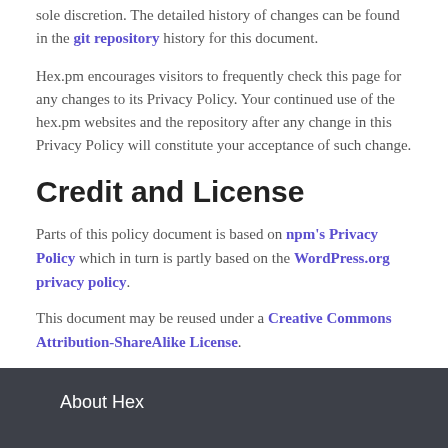sole discretion. The detailed history of changes can be found in the git repository history for this document.
Hex.pm encourages visitors to frequently check this page for any changes to its Privacy Policy. Your continued use of the hex.pm websites and the repository after any change in this Privacy Policy will constitute your acceptance of such change.
Credit and License
Parts of this policy document is based on npm's Privacy Policy which in turn is partly based on the WordPress.org privacy policy.
This document may be reused under a Creative Commons Attribution-ShareAlike License.
About Hex